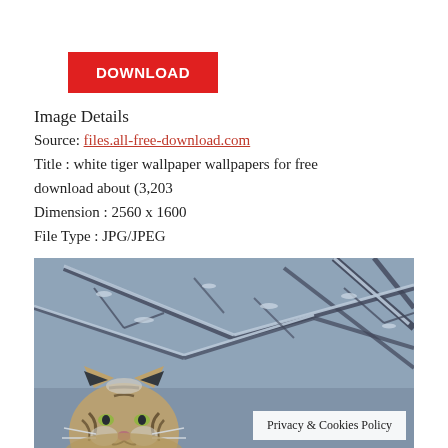DOWNLOAD
Image Details
Source: files.all-free-download.com
Title : white tiger wallpaper wallpapers for free download about (3,203
Dimension : 2560 x 1600
File Type : JPG/JPEG
[Figure (photo): White tiger sitting among snow-covered tree branches in a winter forest scene]
Privacy & Cookies Policy